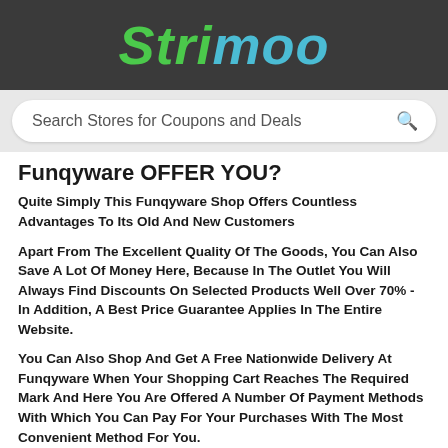Strimoo
Search Stores for Coupons and Deals
Funqyware OFFER YOU?
Quite Simply This Funqyware Shop Offers Countless Advantages To Its Old And New Customers
Apart From The Excellent Quality Of The Goods, You Can Also Save A Lot Of Money Here, Because In The Outlet You Will Always Find Discounts On Selected Products Well Over 70% - In Addition, A Best Price Guarantee Applies In The Entire Website.
You Can Also Shop And Get A Free Nationwide Delivery At Funqyware When Your Shopping Cart Reaches The Required Mark And Here You Are Offered A Number Of Payment Methods With Which You Can Pay For Your Purchases With The Most Convenient Method For You.